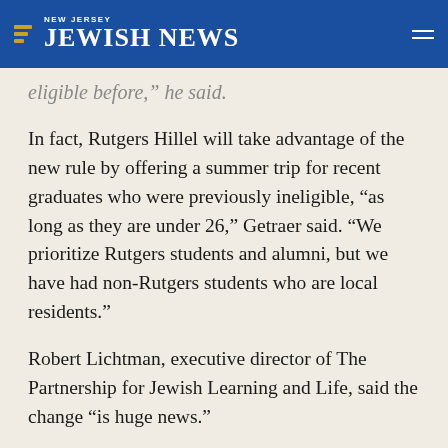NEW JERSEY JEWISH NEWS
eligible before,” he said.
In fact, Rutgers Hillel will take advantage of the new rule by offering a summer trip for recent graduates who were previously ineligible, “as long as they are under 26,” Getraer said. “We prioritize Rutgers students and alumni, but we have had non-Rutgers students who are local residents.”
Robert Lichtman, executive director of The Partnership for Jewish Learning and Life, said the change “is huge news.”
The Partnership, the educational arm of the Greater MetroWest federation, coordinates a number of Israel programs for local teenagers, including